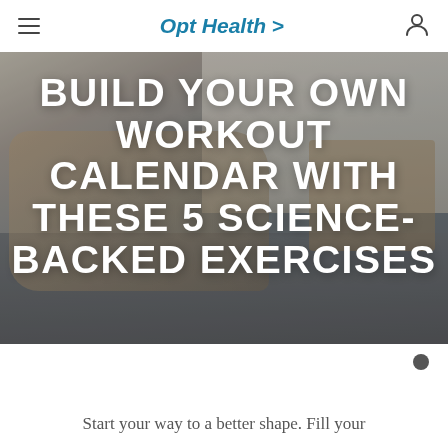Opt Health >
[Figure (photo): Person doing push-ups on a carpeted floor in a room with furniture in the background. Large white bold text overlaid reads: BUILD YOUR OWN WORKOUT CALENDAR WITH THESE 5 SCIENCE-BACKED EXERCISES]
BUILD YOUR OWN WORKOUT CALENDAR WITH THESE 5 SCIENCE-BACKED EXERCISES
Start your way to a better shape. Fill your